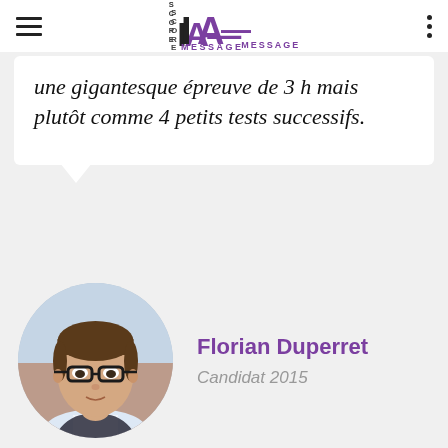Score IAE Message
une gigantesque épreuve de 3 h mais plutôt comme 4 petits tests successifs.
[Figure (photo): Circular portrait photo of Florian Duperret, a young man with glasses and short brown hair, wearing a suit.]
Florian Duperret
Candidat 2015